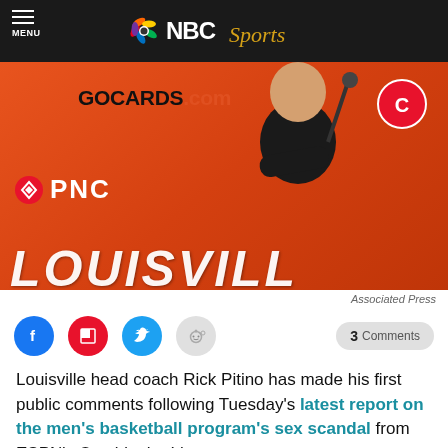NBC Sports
[Figure (photo): Rick Pitino standing at a podium at a press conference in front of a red backdrop with GOCARDS.com and PNC branding, and Louisville text at the bottom.]
Associated Press
Louisville head coach Rick Pitino has made his first public comments following Tuesday's latest report on the men's basketball program's sex scandal from ESPN's Outside the Lines.